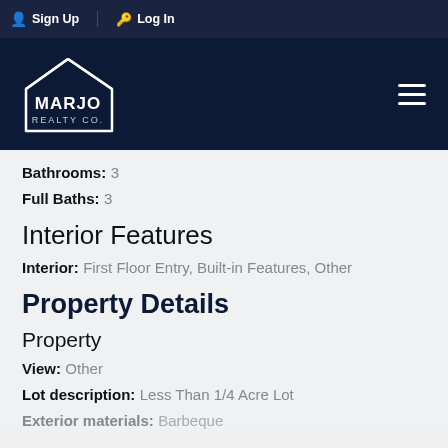Sign Up  Log In
[Figure (logo): Marjo Realty Co. logo — white house outline with MARJO REALTY CO. text on dark navy background]
Bathrooms: 3
Full Baths: 3
Interior Features
Interior: First Floor Entry, Built-in Features, Other
Property Details
Property
View: Other
Lot description: Less Than 1/4 Acre Lot
Exterior materials: Barbeque